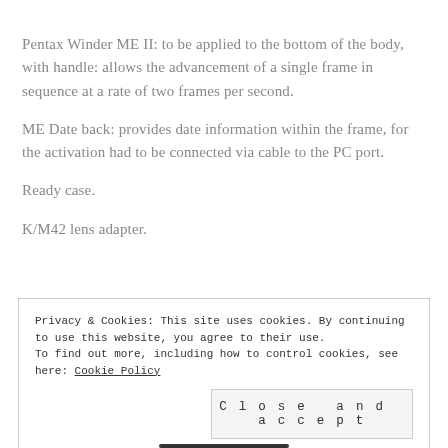Pentax Winder ME II: to be applied to the bottom of the body, with handle: allows the advancement of a single frame in sequence at a rate of two frames per second.
ME Date back: provides date information within the frame, for the activation had to be connected via cable to the PC port.
Ready case.
K/M42 lens adapter.
Privacy & Cookies: This site uses cookies. By continuing to use this website, you agree to their use.
To find out more, including how to control cookies, see here: Cookie Policy
Close and accept